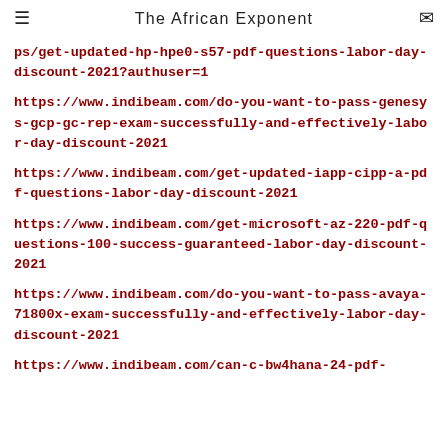The African Exponent
ps/get-updated-hp-hpe0-s57-pdf-questions-labor-day-discount-2021?authuser=1
https://www.indibeam.com/do-you-want-to-pass-genesys-gcp-gc-rep-exam-successfully-and-effectively-labor-day-discount-2021
https://www.indibeam.com/get-updated-iapp-cipp-a-pdf-questions-labor-day-discount-2021
https://www.indibeam.com/get-microsoft-az-220-pdf-questions-100-success-guaranteed-labor-day-discount-2021
https://www.indibeam.com/do-you-want-to-pass-avaya-71800x-exam-successfully-and-effectively-labor-day-discount-2021
https://www.indibeam.com/can-c-bw4hana-24-pdf-...